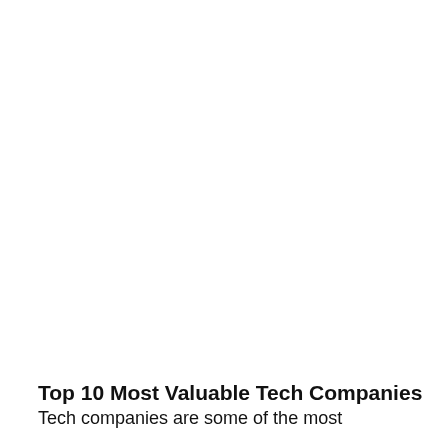Top 10 Most Valuable Tech Companies
Tech companies are some of the most